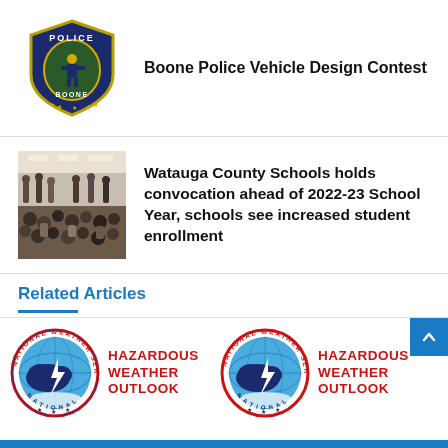[Figure (logo): Boone Police Department badge logo — shield shape with officer figure]
Boone Police Vehicle Design Contest
[Figure (photo): Indoor photo of a large group of people, likely a school convocation event]
Watauga County Schools holds convocation ahead of 2022-23 School Year, schools see increased student enrollment
Related Articles
[Figure (logo): National Weather Service Hazardous Weather Outlook logo — circular NWS emblem with lightning bolt]
HAZARDOUS WEATHER OUTLOOK
[Figure (logo): National Weather Service Hazardous Weather Outlook logo — circular NWS emblem with lightning bolt]
HAZARDOUS WEATHER OUTLOOK